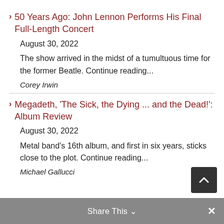50 Years Ago: John Lennon Performs His Final Full-Length Concert
August 30, 2022
The show arrived in the midst of a tumultuous time for the former Beatle. Continue reading...
Corey Irwin
Megadeth, 'The Sick, the Dying ... and the Dead!': Album Review
August 30, 2022
Metal band's 16th album, and first in six years, sticks close to the plot. Continue reading...
Michael Gallucci
Share This